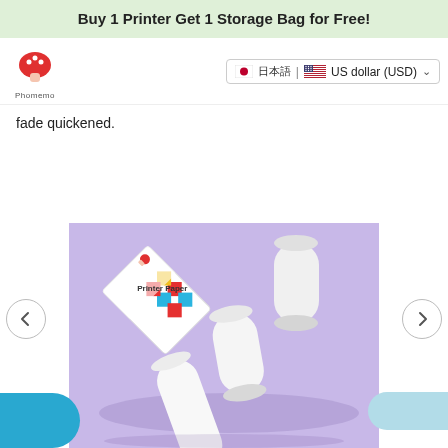Buy 1 Printer Get 1 Storage Bag for Free!
[Figure (logo): Phomemo mushroom logo with brand name text below]
🇯🇵 日本語 | 🇺🇸 US dollar (USD) ∨
fade quickened.
[Figure (photo): Product photo on lavender/purple background showing Phomemo Printer Paper box and several white paper rolls arranged diagonally]